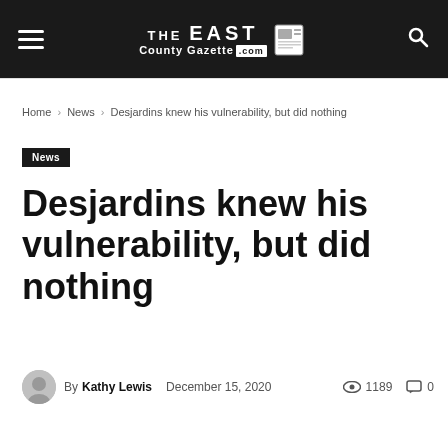THE EAST County Gazette .com
Home › News › Desjardins knew his vulnerability, but did nothing
News
Desjardins knew his vulnerability, but did nothing
By Kathy Lewis  December 15, 2020  1189  0